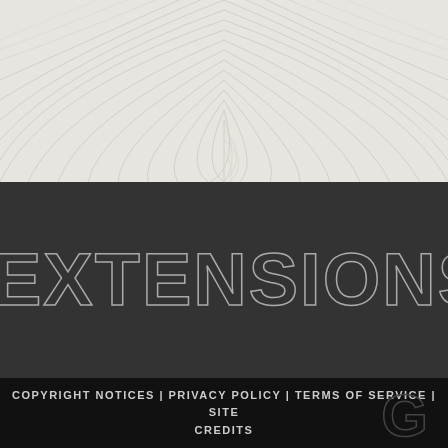[Figure (illustration): Abstract wavy lines pattern on light grey/off-white background forming the top section of the page]
EXTENSIONS
COPYRIGHT NOTICES | PRIVACY POLICY | TERMS OF SERVICE | SITE CREDITS